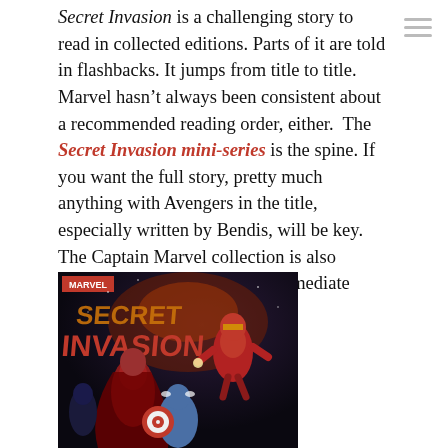Secret Invasion is a challenging story to read in collected editions. Parts of it are told in flashbacks. It jumps from title to title. Marvel hasn't always been consistent about a recommended reading order, either.  The Secret Invasion mini-series is the spine. If you want the full story, pretty much anything with Avengers in the title, especially written by Bendis, will be key. The Captain Marvel collection is also relevant in ways that are not immediate apparent.
[Figure (illustration): Cover of Marvel's Secret Invasion comic book showing superheroes including Iron Man and Captain America with the Marvel logo and 'Secret Invasion' title text in stylized lettering]